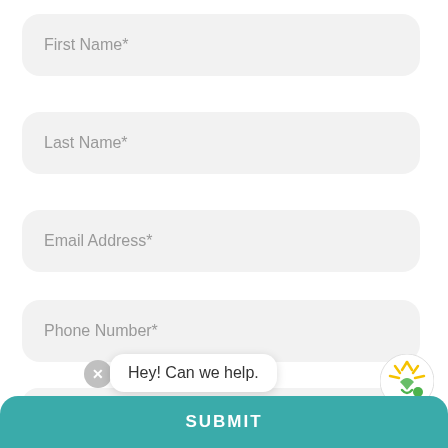First Name*
Last Name*
Email Address*
Phone Number*
I'm Interested In...
Hey! Can we help.
SUBMIT